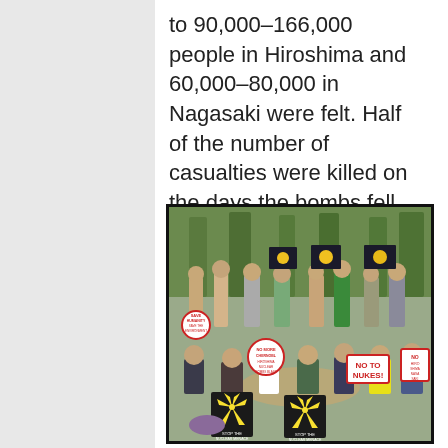to 90,000–166,000 people in Hiroshima and 60,000–80,000 in Nagasaki were felt. Half of the number of casualties were killed on the days the bombs fell.
[Figure (photo): A group of protesters, mostly young people, sitting and standing outdoors holding anti-nuclear signs including 'NO MORE CHERNOBL', 'NO TO NUKES!', 'SAVE HUMANITY SAVE THE ENVIRONMENT', and signs with nuclear hazard symbols.]